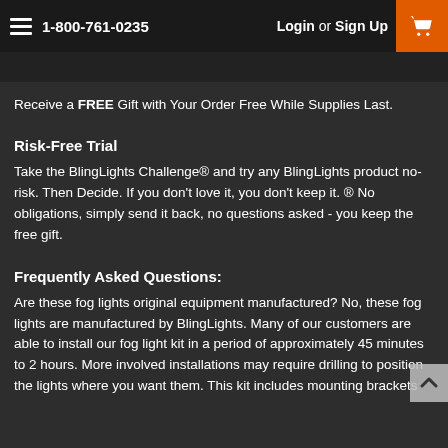1-800-761-0235  Login or Sign Up
Receive a FREE Gift with Your Order Free While Supplies Last.
Risk-Free Trial
Take the BlingLights Challenge® and try any BlingLights product no-risk. Then Decide. If you don't love it, you don't keep it. ® No obligations, simply send it back, no questions asked - you keep the free gift.
Frequently Asked Questions:
Are these fog lights original equipment manufactured? No, these fog lights are manufactured by BlingLights. Many of our customers are able to install our fog light kit in a period of approximately 45 minutes to 2 hours. More involved installations may require drilling to position the lights where you want them. This kit includes mounting brackets